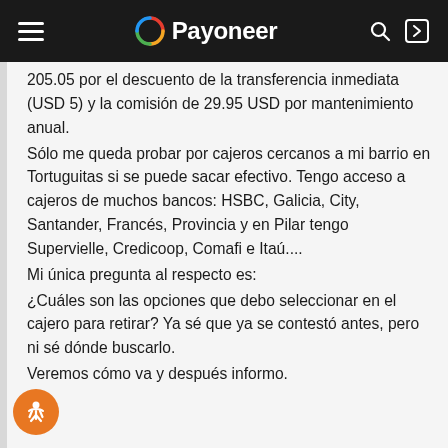Payoneer
205.05 por el descuento de la transferencia inmediata (USD 5) y la comisión de 29.95 USD por mantenimiento anual.
Sólo me queda probar por cajeros cercanos a mi barrio en Tortuguitas si se puede sacar efectivo. Tengo acceso a cajeros de muchos bancos: HSBC, Galicia, City, Santander, Francés, Provincia y en Pilar tengo Supervielle, Credicoop, Comafi e Itaú....
Mi única pregunta al respecto es:
¿Cuáles son las opciones que debo seleccionar en el cajero para retirar? Ya sé que ya se contestó antes, pero ni sé dónde buscarlo.
Veremos cómo va y después informo.